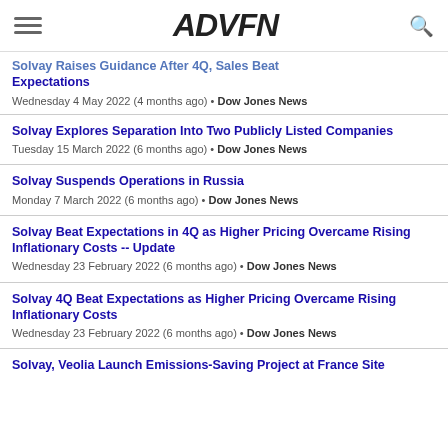ADVFN
Solvay Raises Guidance After 4Q, Sales Beat Expectations
Wednesday 4 May 2022 (4 months ago) • Dow Jones News
Solvay Explores Separation Into Two Publicly Listed Companies
Tuesday 15 March 2022 (6 months ago) • Dow Jones News
Solvay Suspends Operations in Russia
Monday 7 March 2022 (6 months ago) • Dow Jones News
Solvay Beat Expectations in 4Q as Higher Pricing Overcame Rising Inflationary Costs -- Update
Wednesday 23 February 2022 (6 months ago) • Dow Jones News
Solvay 4Q Beat Expectations as Higher Pricing Overcame Rising Inflationary Costs
Wednesday 23 February 2022 (6 months ago) • Dow Jones News
Solvay, Veolia Launch Emissions-Saving Project at France Site